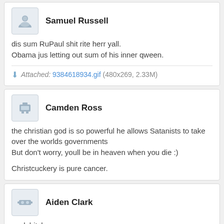Samuel Russell
dis sum RuPaul shit rite herr yall.
Obama jus letting out sum of his inner qween.
Attached: 9384618934.gif (480x269, 2.33M)
Camden Ross
the christian god is so powerful he allows Satanists to take over the worlds governments
But don't worry, youll be in heaven when you die :)

Christcuckery is pure cancer.
Aiden Clark
werk bitch
Jordan Turner